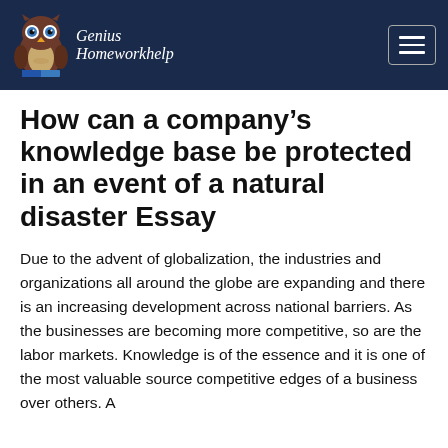Genius Homeworkhelp
How can a company’s knowledge base be protected in an event of a natural disaster Essay
Due to the advent of globalization, the industries and organizations all around the globe are expanding and there is an increasing development across national barriers. As the businesses are becoming more competitive, so are the labor markets. Knowledge is of the essence and it is one of the most valuable source competitive edges of a business over others. A